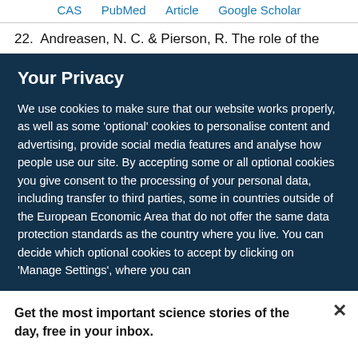CAS   PubMed   Article   Google Scholar
22.  Andreasen, N. C. & Pierson, R. The role of the
Your Privacy
We use cookies to make sure that our website works properly, as well as some ‘optional’ cookies to personalise content and advertising, provide social media features and analyse how people use our site. By accepting some or all optional cookies you give consent to the processing of your personal data, including transfer to third parties, some in countries outside of the European Economic Area that do not offer the same data protection standards as the country where you live. You can decide which optional cookies to accept by clicking on ‘Manage Settings’, where you can
Get the most important science stories of the day, free in your inbox.
Sign up for Nature Briefing